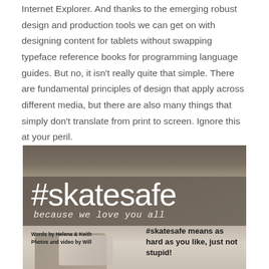Internet Explorer. And thanks to the emerging robust design and production tools we can get on with designing content for tablets without swapping typeface reference books for programming language guides. But no, it isn't really quite that simple. There are fundamental principles of design that apply across different media, but there are also many things that simply don't translate from print to screen. Ignore this at your peril.
[Figure (photo): A promotional image with background photo of skate shoes on a surface. A dark semi-transparent band overlays the middle showing '#skatesafe' in large white light-weight font, and below it 'because we love you all' in italic text. The bottom portion shows credits 'Words by Helena & Keith / Photos and video by Will' on the left, and '#skatesafe means as hard as you like, just not stupid!' on the right in bold.]